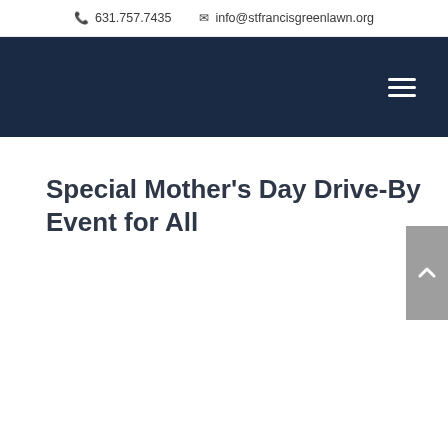📞 631.757.7435   ✉ info@stfrancisgreenlawn.org
Special Mother's Day Drive-By Event for All